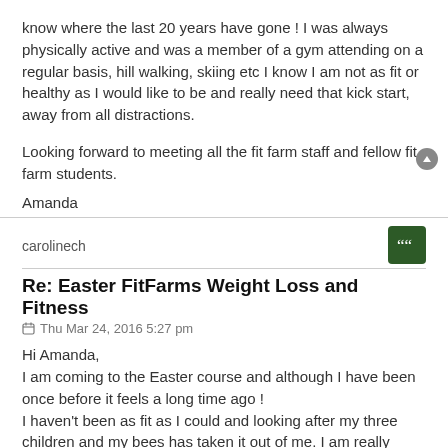know where the last 20 years have gone ! I was always physically active and was a member of a gym attending on a regular basis, hill walking, skiing etc I know I am not as fit or healthy as I would like to be and really need that kick start, away from all distractions.
Looking forward to meeting all the fit farm staff and fellow fit farm students.
Amanda
carolinech
Re: Easter FitFarms Weight Loss and Fitness
Thu Mar 24, 2016 5:27 pm
Hi Amanda,
I am coming to the Easter course and although I have been once before it feels a long time ago !
I haven't been as fit as I could and looking after my three children and my bees has taken it out of me. I am really looking forward to getting back my mojo and understanding why my fitness levels have gone down. I 've never been to this part of the country and am particularly looking forward to exploring the area. I have been informed that my great grandfather was born in Matlock:)